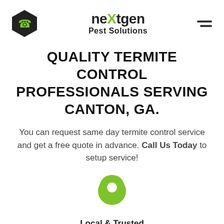[Figure (logo): NextGen Pest Solutions logo with hexagon phone icon on left, brand name in center, and hamburger menu on right]
QUALITY TERMITE CONTROL PROFESSIONALS SERVING CANTON, GA.
You can request same day termite control service and get a free quote in advance. Call Us Today to setup service!
[Figure (illustration): Green map pin / location marker icon]
Local & Trusted